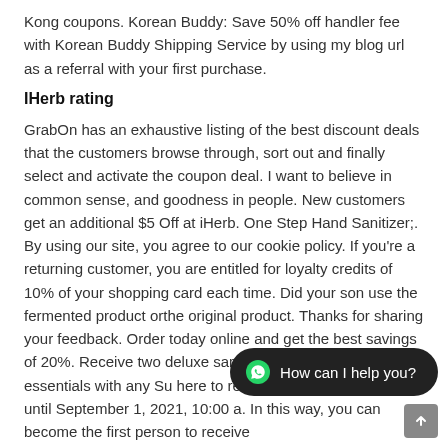Kong coupons. Korean Buddy: Save 50% off handler fee with Korean Buddy Shipping Service by using my blog url as a referral with your first purchase.
IHerb rating
GrabOn has an exhaustive listing of the best discount deals that the customers browse through, sort out and finally select and activate the coupon deal. I want to believe in common sense, and goodness in people. New customers get an additional $5 Off at iHerb. One Step Hand Sanitizer;. By using our site, you agree to our cookie policy. If you're a returning customer, you are entitled for loyalty credits of 10% of your shopping card each time. Did your son use the fermented product orthe original product. Thanks for sharing your feedback. Order today online and get the best savings of 20%. Receive two deluxe samples of Sulwhasoo essentials with any Su here to redeem. 32 products valid until September 1, 2021, 10:00 a. In this way, you can become the first person to receive